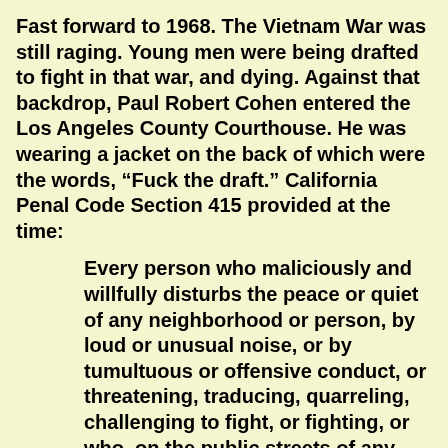Fast forward to 1968. The Vietnam War was still raging. Young men were being drafted to fight in that war, and dying. Against that backdrop, Paul Robert Cohen entered the Los Angeles County Courthouse. He was wearing a jacket on the back of which were the words, “Fuck the draft.” California Penal Code Section 415 provided at the time:
Every person who maliciously and willfully disturbs the peace or quiet of any neighborhood or person, by loud or unusual noise, or by tumultuous or offensive conduct, or threatening, traducing, quarreling, challenging to fight, or fighting, or who, on the public streets of any unincorporated town, or upon the public highways in such unincorporated town, run any horse race, either for a wager of for amusement, or fire any gun or pistol in